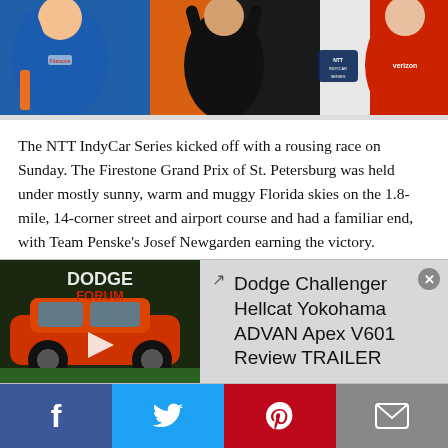[Figure (photo): Racing drivers on podium with Firestone Grand Prix and NTT IndyCar Series branding. Three drivers visible: one in blue suit on left, one in black in center, one in red Verizon suit on right, arms raised in celebration.]
The NTT IndyCar Series kicked off with a rousing race on Sunday. The Firestone Grand Prix of St. Petersburg was held under mostly sunny, warm and muggy Florida skies on the 1.8-mile, 14-corner street and airport course and had a familiar end, with Team Penske's Josef Newgarden earning the victory.
Since Indy cars began racing on the waterfront circuit in 2003, the team has claimed nine victories. Hello Castroneves took three, while Will Power and Juan Pablo Montoya each secured two victories; Ryan Briscoe and now Newgarden have collected single trophies driving with Team Penske. Will Power, who finished third after battling teammate Newgarden and second-
[Figure (screenshot): Video overlay bar showing a Dodge Challenger (orange/red muscle car) thumbnail on the left with DODGE FORUM branding and a play button. Title reads: Dodge Challenger Hellcat Yokohama ADVAN Apex V601 Review TRAILER. Close button (x) in top right corner.]
Facebook | Twitter | Pinterest | Email (social share buttons)